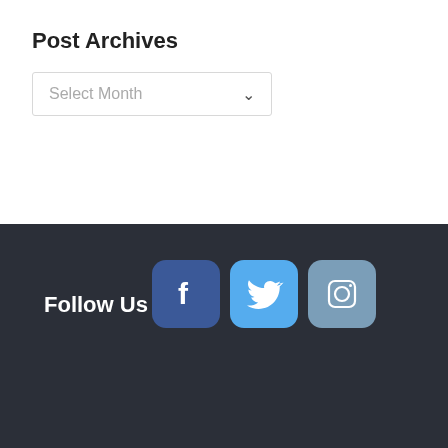Post Archives
[Figure (screenshot): Dropdown select box with placeholder text 'Select Month' and a chevron arrow on the right]
Follow Us
[Figure (illustration): Three social media icon buttons: Facebook (dark blue with 'f' logo), Twitter (light blue with bird logo), Instagram (steel blue with camera logo)]